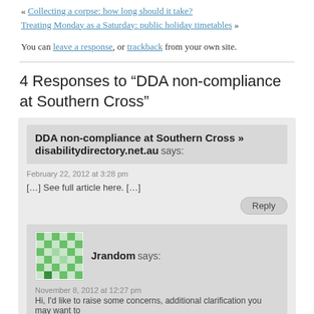« Collecting a corpse: how long should it take?
Treating Monday as a Saturday: public holiday timetables »
You can leave a response, or trackback from your own site.
4 Responses to “DDA non-compliance at Southern Cross”
DDA non-compliance at Southern Cross » disabilitydirectory.net.au says:
February 22, 2012 at 3:28 pm
[…] See full article here. […]
Reply
Jrandom says:
November 8, 2012 at 12:27 pm